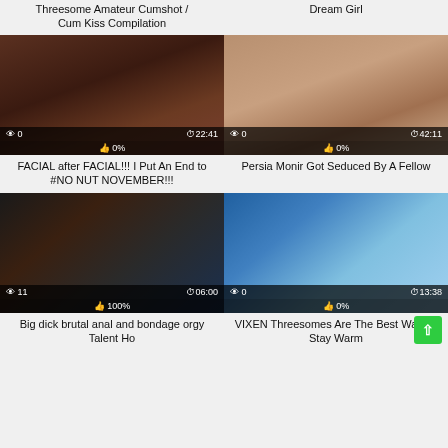Threesome Amateur Cumshot / Cum Kiss Compilation
Dream Girl
[Figure (photo): Video thumbnail showing intimate scene, views: 0, duration: 22:41, likes: 0%]
[Figure (photo): Video thumbnail showing intimate scene, views: 0, duration: 42:11, likes: 0%]
FACIAL after FACIAL!!! I Put An End to #NO NUT NOVEMBER!!!
Persia Monir Got Seduced By A Fellow
[Figure (photo): Video thumbnail showing intimate scene, views: 11, duration: 06:00, likes: 100%]
[Figure (photo): Video thumbnail showing group scene, views: 0, duration: 13:38, likes: 0%]
Big dick brutal anal and bondage orgy Talent Ho
VIXEN Threesomes Are The Best Way To Stay Warm